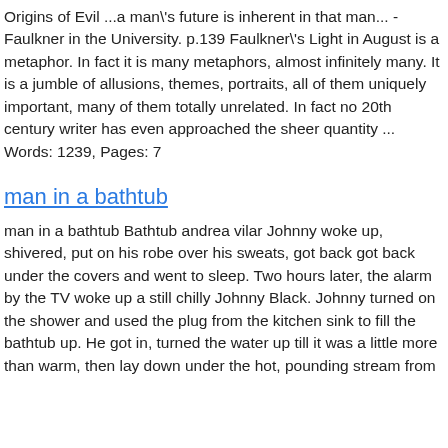Origins of Evil ...a man's future is inherent in that man... - Faulkner in the University. p.139 Faulkner's Light in August is a metaphor. In fact it is many metaphors, almost infinitely many. It is a jumble of allusions, themes, portraits, all of them uniquely important, many of them totally unrelated. In fact no 20th century writer has even approached the sheer quantity ... Words: 1239, Pages: 7
man in a bathtub
man in a bathtub Bathtub andrea vilar Johnny woke up, shivered, put on his robe over his sweats, got back got back under the covers and went to sleep. Two hours later, the alarm by the TV woke up a still chilly Johnny Black. Johnny turned on the shower and used the plug from the kitchen sink to fill the bathtub up. He got in, turned the water up till it was a little more than warm, then lay down under the hot, pounding stream from